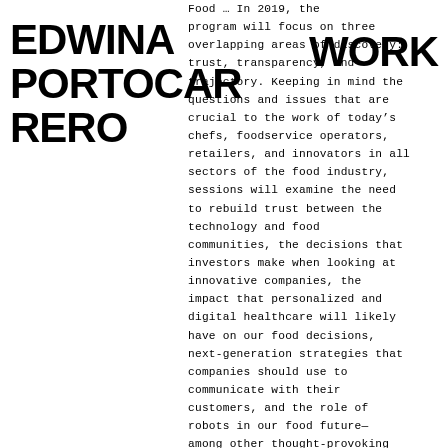EDWINA PORTOCARRERO
WORK
Food … In 2019, the program will focus on three overlapping areas of discovery: trust, transparency, and trajectory. Keeping in mind the questions and issues that are crucial to the work of today’s chefs, foodservice operators, retailers, and innovators in all sectors of the food industry, sessions will examine the need to rebuild trust between the technology and food communities, the decisions that investors make when looking at innovative companies, the impact that personalized and digital healthcare will likely have on our food decisions, next-generation strategies that companies should use to communicate with their customers, and the role of robots in our food future—among other thought-provoking presentations and breakouts.